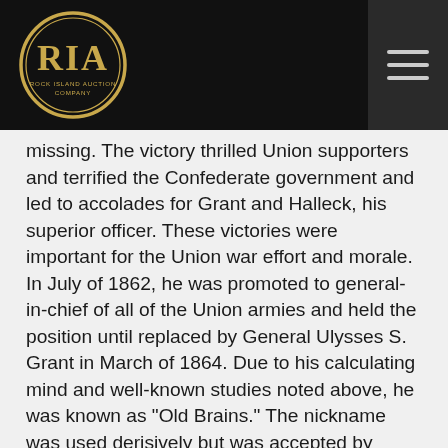[Figure (logo): Rock Island Auction Company (RIA) logo — oval gold/yellow border with 'RIA' in large letters and 'ROCK ISLAND AUCTION COMPANY' text below, on black background]
missing. The victory thrilled Union supporters and terrified the Confederate government and led to accolades for Grant and Halleck, his superior officer. These victories were important for the Union war effort and morale. In July of 1862, he was promoted to general-in-chief of all of the Union armies and held the position until replaced by General Ulysses S. Grant in March of 1864. Due to his calculating mind and well-known studies noted above, he was known as "Old Brains." The nickname was used derisively but was accepted by Halleck. In addition to his scholarly works, this moniker reflected his headstrong, cautious, and exacting nature. When Grant replaced him as general-in-chief, he became Grant's chief of staff, a role more suited to his personality and strategic mind, and